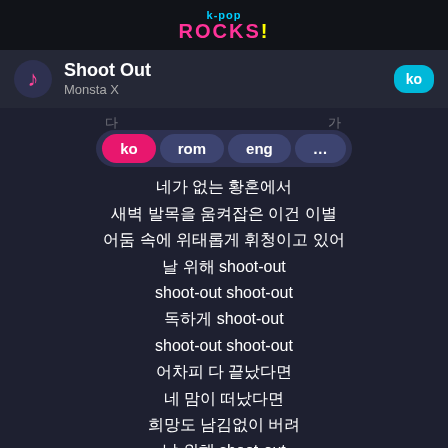k-pop ROCKS!
Shoot Out
Monsta X
[Figure (screenshot): Language selection pill with buttons: ko (pink/selected), rom, eng, ... on a dark purple background. Partial Korean lyric text visible above and '다' and '가' on sides.]
네가 없는 황혼에서
새벽 발목을 움켜잡은 이건 이별
어둠 속에 위태롭게 휘청이고 있어
날 위해 shoot-out
shoot-out shoot-out
독하게 shoot-out
shoot-out shoot-out
어차피 다 끝났다면
네 맘이 떠났다면
희망도 남김없이 버려
날 위해 shoot-out
shoot-out shoot-out
한 방에 shoot-out